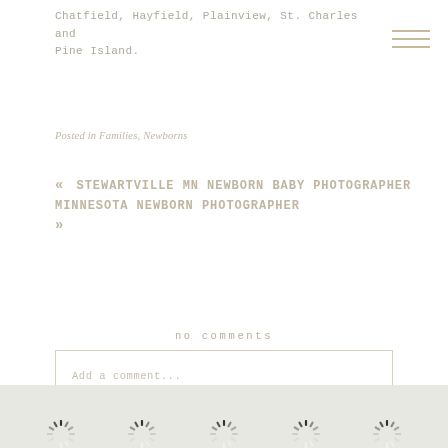Chatfield, Hayfield, Plainview, St. Charles and Pine Island.
Posted in Families, Newborns
« STEWARTVILLE MN NEWBORN BABY PHOTOGRAPHER
MINNESOTA NEWBORN PHOTOGRAPHER
»
no comments
Add a comment...
[Figure (other): Loading spinner icons at the bottom of the page]